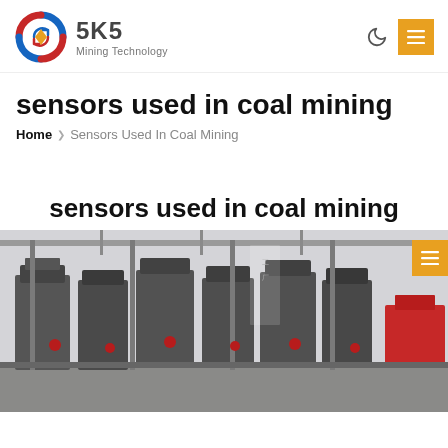SKS Mining Technology
sensors used in coal mining
Home  ❯  Sensors Used In Coal Mining
sensors used in coal mining
[Figure (photo): Industrial mining equipment — large cylindrical metal tanks and machinery in a factory/mine facility setting, photographed from a low angle showing the scale of the equipment.]